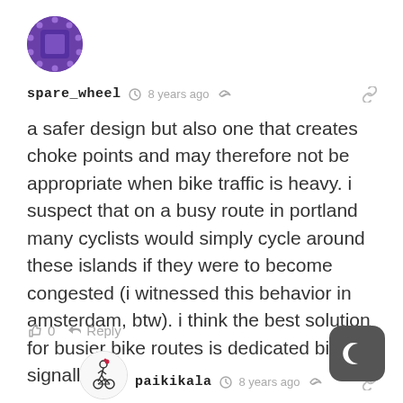[Figure (illustration): Purple circular avatar with decorative dot border pattern for user spare_wheel]
spare_wheel  🕐 8 years ago  ⬡  🔗
a safer design but also one that creates choke points and may therefore not be appropriate when bike traffic is heavy. i suspect that on a busy route in portland many cyclists would simply cycle around these islands if they were to become congested (i witnessed this behavior in amsterdam, btw). i think the best solution for busier bike routes is dedicated bike signalling.
👍 0   ➜ Reply   ∧
[Figure (illustration): Avatar for user paikikala showing a cyclist figure with flower]
paikikala  🕐 8 years ago  ⬡  🔗